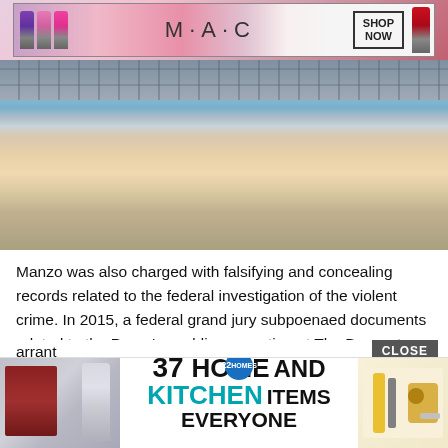[Figure (photo): MAC Cosmetics advertisement banner with lipsticks in purple, pink, and red colors, MAC logo, and SHOP NOW button]
[Figure (photo): Woman with long blonde hair near a swimming pool, viewed from behind/side, wearing black top]
Manzo was also charged with falsifying and concealing records related to the federal investigation of the violent crime. In 2015, a federal grand jury subpoenaed documents related to the Perna's wedding reception at The Brownstone Restaurant. Manzo failed to turn over the documents and instead allegedly submitted false documents with a false certification. In November 2010, agents with the FBI executed a s...arrant at the Augus docum...
[Figure (photo): Advertisement for '37 Home and Kitchen Items Everyone Should Own' on channel 22, showing wine opener, box, and kitchen tools. Includes CLOSE button overlay.]